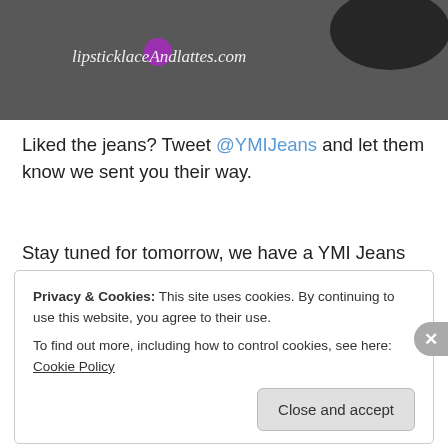[Figure (photo): Dark textured background with 'lipsticklaceAndlattes.com' text in white cursive font and a purple circle logo in the top area of the image]
Liked the jeans? Tweet @YMIJeans and let them know we sent you their way.
Stay tuned for tomorrow, we have a YMI Jeans Giveaway for one of you lucky subbies! :)
[Figure (illustration): Starbucks cup icon next to 'Hazzle Joy' signature in purple cursive script]
Privacy & Cookies: This site uses cookies. By continuing to use this website, you agree to their use.
To find out more, including how to control cookies, see here: Cookie Policy